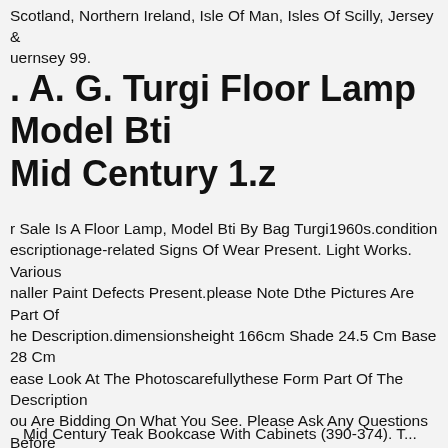Scotland, Northern Ireland, Isle Of Man, Isles Of Scilly, Jersey & Guernsey 99.
. A. G. Turgi Floor Lamp Model Bti Mid Century 1.z
r Sale Is A Floor Lamp, Model Bti By Bag Turgi1960s.condition escriptionage-related Signs Of Wear Present. Light Works. Various naller Paint Defects Present.please Note Dthe Pictures Are Part Of he Description.dimensionsheight 166cm Shade 24.5 Cm Base 28 Cm ease Look At The Photoscarefullythese Form Part Of The Description ou Are Bidding On What You See. Please Ask Any Questions Before he End Of The Auction. I Would Be Happy To Send You Additional hotos On Request. I Recommend An Inspection Of The Object At My ace. Please Make An Appointment With Me. Please Also See My thersauctionson! Shipping Terms- I Send With Dhl (parcel, Parcel, ulky Goods Up To The Specified Girth), ...- ... Or A Transport Company An Additional Load (7 To 14 Days Delivery Time). Th.
Mid Century Teak Bookcase With Cabinets (390-374). T...